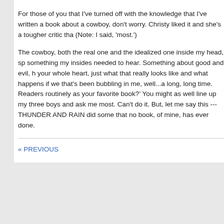For those of you that I've turned off with the knowledge that I've written a book about a cowboy, don't worry. Christy liked it and she's a tougher critic tha… (Note: I said, 'most.')
The cowboy, both the real one and the idealized one inside my head, sp… something my insides needed to hear. Something about good and evil, h… your whole heart, just what that really looks like and what happens if we… that's been bubbling in me, well...a long, long time. Readers routinely as… your favorite book?' You might as well line up my three boys and ask me… most. Can't do it. But, let me say this --- THUNDER AND RAIN did some… that no book, of mine, has ever done.
« PREVIOUS